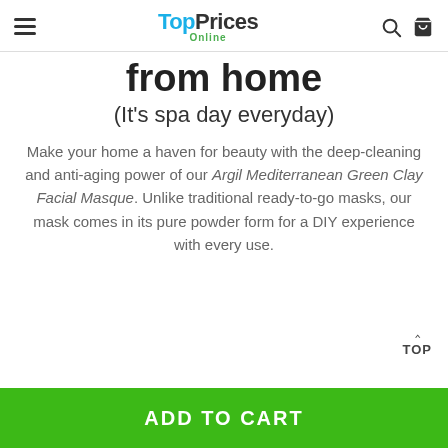TopPrices Online
from home
(It's spa day everyday)
Make your home a haven for beauty with the deep-cleaning and anti-aging power of our Argil Mediterranean Green Clay Facial Masque. Unlike traditional ready-to-go masks, our mask comes in its pure powder form for a DIY experience with every use.
TOP
ADD TO CART